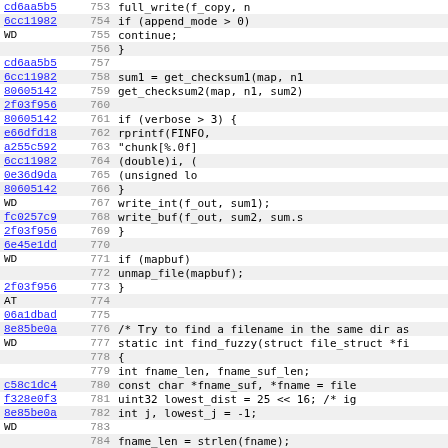| hash | line | code |
| --- | --- | --- |
| cd6aa5b5 | 753 |                         full_write(f_copy, n |
| 6cc11982 | 754 |                         if (append_mode > 0) |
| WD | 755 |                             continue; |
|  | 756 |                         } |
| cd6aa5b5 | 757 |  |
| 6cc11982 | 758 |                 sum1 = get_checksum1(map, n1 |
| 80605142 | 759 |                 get_checksum2(map, n1, sum2) |
| 2f03f956 | 760 |  |
| 80605142 | 761 |                 if (verbose > 3) { |
| e66dfd18 | 762 |                         rprintf(FINFO, |
| a255c592 | 763 |                                 "chunk[%.0f] |
| 6cc11982 | 764 |                                 (double)i, ( |
| 0e36d9da | 765 |                                 (unsigned lo |
| 80605142 | 766 |                 } |
| WD | 767 |                 write_int(f_out, sum1); |
| fc0257c9 | 768 |                 write_buf(f_out, sum2, sum.s |
| 2f03f956 | 769 |         } |
| 6e45e1dd | 770 |  |
| WD | 771 |         if (mapbuf) |
|  | 772 |                 unmap_file(mapbuf); |
| 2f03f956 | 773 | } |
| AT | 774 |  |
| 06a1dbad | 775 |  |
| 8e85be0a | 776 | /* Try to find a filename in the same dir as |
| WD | 777 | static int find_fuzzy(struct file_struct *fi |
|  | 778 | { |
|  | 779 |         int fname_len, fname_suf_len; |
| c58c1dc4 | 780 |         const char *fname_suf, *fname = file |
| f328e0f3 | 781 |         uint32 lowest_dist = 25 << 16; /* ig |
| 8e85be0a | 782 |         int j, lowest_j = -1; |
| WD | 783 |  |
|  | 784 |         fname_len = strlen(fname); |